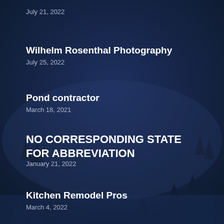July 21, 2022
Wilhelm Rosenthal Photography
July 25, 2022
Pond contractor
March 18, 2021
NO CORRESPONDING STATE FOR ABBREVIATION
January 21, 2022
Kitchen Remodel Pros
March 4, 2022